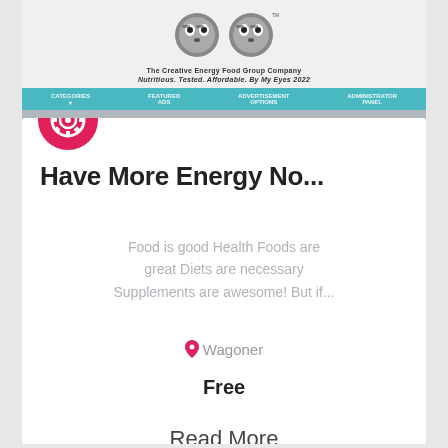[Figure (logo): Raccoon mascot logo for energy food company with text below]
August 31, 2022
Have More Energy No...
Food is good Health Foods are great Diets are necessary Supplements are awesome! But if...
Wagoner
Free
Read More